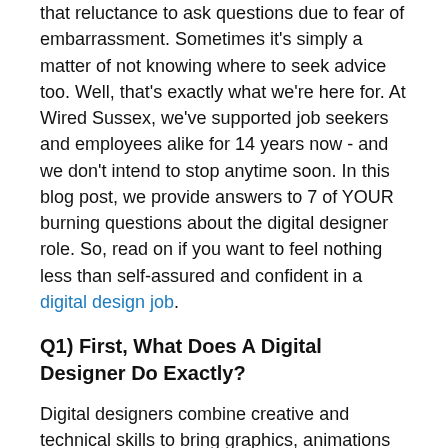that reluctance to ask questions due to fear of embarrassment. Sometimes it's simply a matter of not knowing where to seek advice too. Well, that's exactly what we're here for. At Wired Sussex, we've supported job seekers and employees alike for 14 years now - and we don't intend to stop anytime soon. In this blog post, we provide answers to 7 of YOUR burning questions about the digital designer role. So, read on if you want to feel nothing less than self-assured and confident in a digital design job.
Q1) First, What Does A Digital Designer Do Exactly?
Digital designers combine creative and technical skills to bring graphics, animations and other visual effects to life. From concept to execution, they work with the likes of project managers, design teams, IT specialists and content experts to interpret a concept and flesh it out through design. They can be found across a range of sectors including gaming, animation, web design, TV and video production. In terms of the daily duties associated with a